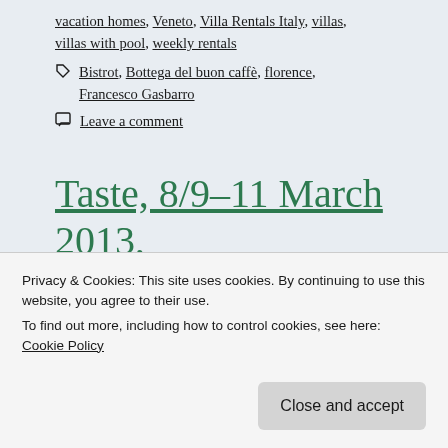vacation homes, Veneto, Villa Rentals Italy, villas, villas with pool, weekly rentals
🏷 Bistrot, Bottega del buon caffè, florence, Francesco Gasbarro
💬 Leave a comment
Taste, 8/9-11 March 2013, Florence
Privacy & Cookies: This site uses cookies. By continuing to use this website, you agree to their use.
To find out more, including how to control cookies, see here: Cookie Policy